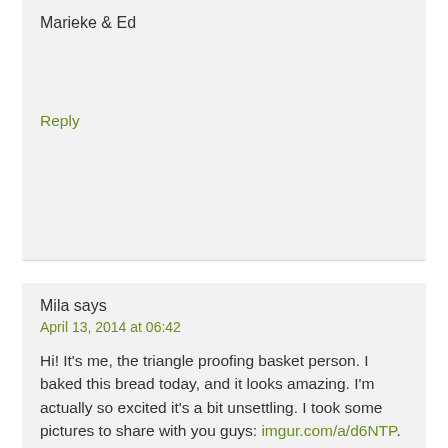Marieke & Ed
Reply
Mila says
April 13, 2014 at 06:42
Hi! It’s me, the triangle proofing basket person. I baked this bread today, and it looks amazing. I’m actually so excited it’s a bit unsettling. I took some pictures to share with you guys: imgur.com/a/d6NTP. Thanks for the inspiration!
Reply